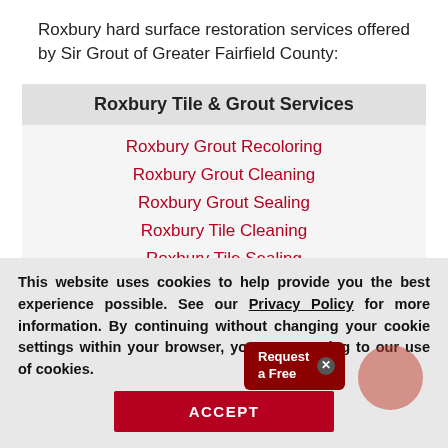Roxbury hard surface restoration services offered by Sir Grout of Greater Fairfield County:
Roxbury Tile & Grout Services
Roxbury Grout Recoloring
Roxbury Grout Cleaning
Roxbury Grout Sealing
Roxbury Tile Cleaning
Roxbury Tile Sealing
Roxbury Caulking
This website uses cookies to help provide you the best experience possible. See our Privacy Policy for more information. By continuing without changing your cookie settings within your browser, you are agreeing to our use of cookies.
ACCEPT